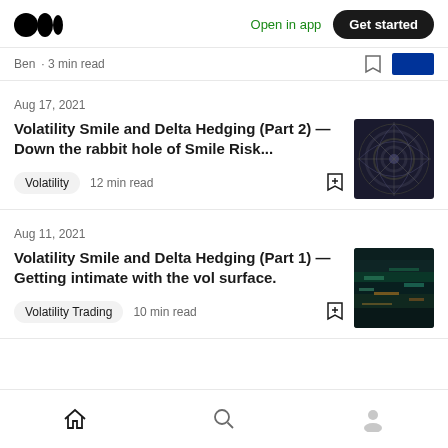Medium app header — Open in app | Get started
Ben · 3 min read
Aug 17, 2021
Volatility Smile and Delta Hedging (Part 2) — Down the rabbit hole of Smile Risk...
Volatility · 12 min read
Aug 11, 2021
Volatility Smile and Delta Hedging (Part 1) — Getting intimate with the vol surface.
Volatility Trading · 10 min read
Home | Search | Profile